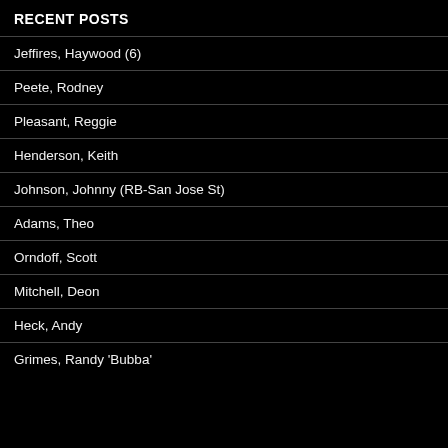RECENT POSTS
Jeffires, Haywood (6)
Peete, Rodney
Pleasant, Reggie
Henderson, Keith
Johnson, Johnny (RB-San Jose St)
Adams, Theo
Orndoff, Scott
Mitchell, Deon
Heck, Andy
Grimes, Randy 'Bubba'